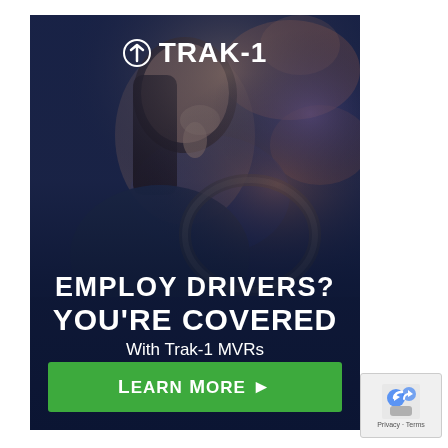[Figure (photo): Advertisement for Trak-1 MVR background screening services. Shows a woman driving a vehicle, viewed from the side profile. Dark blue overlay covers the image. White TRAK-1 logo at top center with a circular icon. Bold white text reads 'EMPLOY DRIVERS? YOU'RE COVERED With Trak-1 MVRs'. Green button with 'Learn More ▶' at the bottom.]
[Figure (logo): reCAPTCHA badge in bottom-right corner with blue/gray robot icon and 'Privacy - Terms' text.]